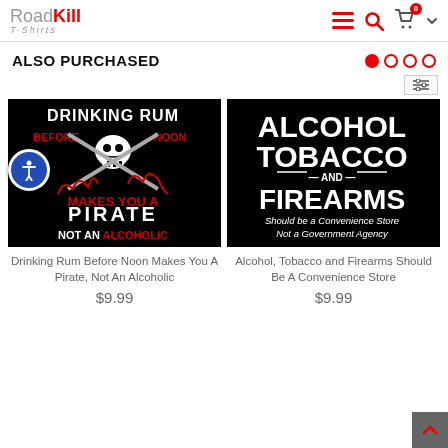RoadKill T-Shirts
ALSO PURCHASED
[Figure (screenshot): Drinking Rum Before Noon Makes You A Pirate Not An Alcoholic t-shirt product image on black background]
Drinking Rum Before Noon Makes You A Pirate, Not An Alcoholic
$9.99
[Figure (screenshot): Alcohol Tobacco and Firearms Should be a Convenience Store Not a Government Agency t-shirt product image on black background]
Alcohol, Tobacco and Firearms Should Be A Convenience Store
$9.99